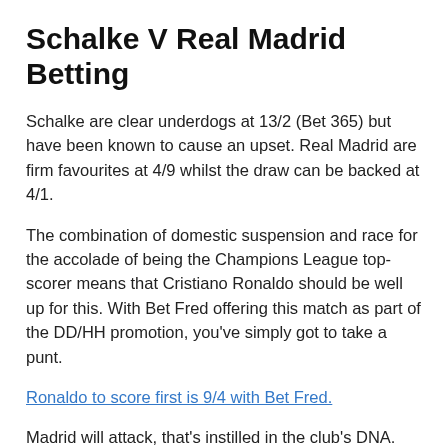Schalke V Real Madrid Betting
Schalke are clear underdogs at 13/2 (Bet 365) but have been known to cause an upset. Real Madrid are firm favourites at 4/9 whilst the draw can be backed at 4/1.
The combination of domestic suspension and race for the accolade of being the Champions League top-scorer means that Cristiano Ronaldo should be well up for this. With Bet Fred offering this match as part of the DD/HH promotion, you've simply got to take a punt.
Ronaldo to score first is 9/4 with Bet Fred.
Madrid will attack, that's instilled in the club's DNA. Los Blancos have improved defensively under Ancelotti, registering a new club record of clean sheets earlier this year. However, with the wealth of attacking options at their disposal, goals are always the aim of the day and if Chelsea could hit three then there is no reason they can't